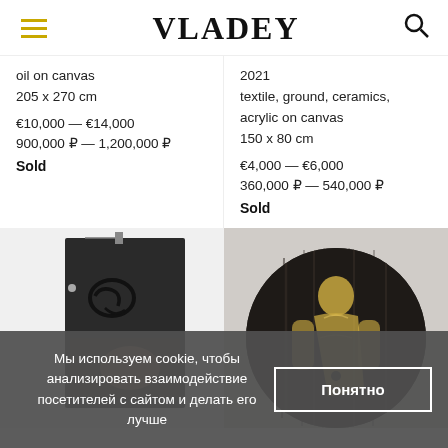VLADEY
oil on canvas
205 x 270 cm

€10,000 — €14,000
900,000 ₽ — 1,200,000 ₽
Sold
2021
textile, ground, ceramics, acrylic on canvas
150 x 80 cm

€4,000 — €6,000
360,000 ₽ — 540,000 ₽
Sold
[Figure (photo): Artwork photograph: dark mixed-media piece with Arabic-style script and textured surface, hanging on white wall]
[Figure (photo): Circular artwork: dark wooden panel with a golden human figure silhouette painted on it]
Мы используем cookie, чтобы анализировать взаимодействие посетителей с сайтом и делать его лучше
Понятно